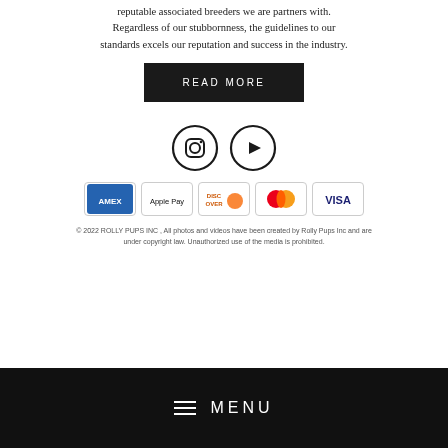reputable associated breeders we are partners with. Regardless of our stubbornness, the guidelines to our standards excels our reputation and success in the industry.
READ MORE
[Figure (illustration): Social media icons: Instagram circle icon and YouTube circle icon side by side]
[Figure (illustration): Payment method icons: AMEX, Apple Pay, Discover, Mastercard, Visa]
© 2022 ROLLY PUPS INC , All photos and videos have been created by Rolly Pups Inc and are under copyright law. Unauthorized use of the media is prohibited.
≡  MENU